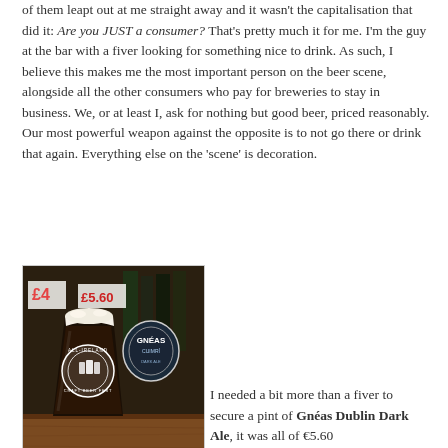of them leapt out at me straight away and it wasn't the capitalisation that did it: Are you JUST a consumer? That's pretty much it for me. I'm the guy at the bar with a fiver looking for something nice to drink. As such, I believe this makes me the most important person on the beer scene, alongside all the other consumers who pay for breweries to stay in business. We, or at least I, ask for nothing but good beer, priced reasonably. Our most powerful weapon against the opposite is to not go there or drink that again. Everything else on the 'scene' is decoration.
[Figure (photo): A dark pint of beer (dark ale/stout) in an All-Ireland Craft Beer Festival branded glass, with a Gnéas Cuimrí pump clip badge visible to the right. Price tags showing £4 and £5.60 are visible in the background.]
I needed a bit more than a fiver to secure a pint of Gnéas Dublin Dark Ale, it was all of €5.60